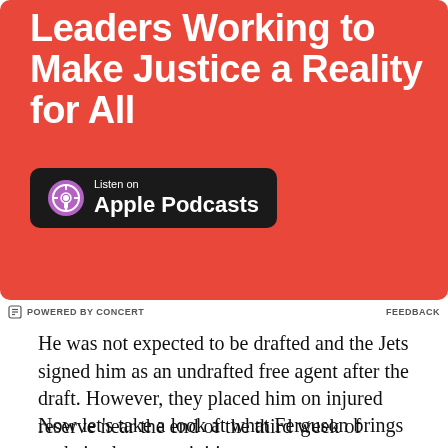[Figure (illustration): Red advertisement banner for a podcast. Bold white text reads 'Leaders Working to Make Justice a Reality for All' (partially visible top). An Apple Podcasts badge with Listen on Apple Podcasts text is shown on the banner.]
POWERED BY CONCERT    FEEDBACK
He was not expected to be drafted and the Jets signed him as an undrafted free agent after the draft. However, they placed him on injured reserve near the end of the third week of organized team activities.
Now let’s take a look at what Ferguson brings to the